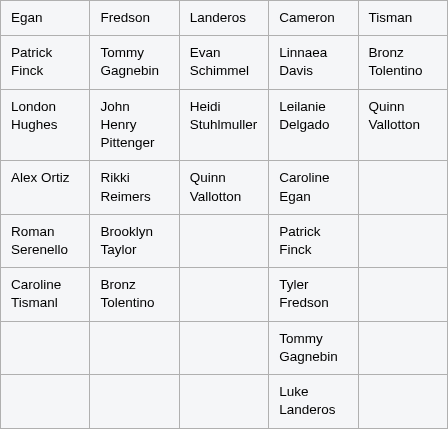| Egan | Fredson | Landeros | Cameron | Tisman |
| Patrick
Finck | Tommy
Gagnebin | Evan
Schimmel | Linnaea
Davis | Bronz
Tolentino |
| London
Hughes | John Henry
Pittenger | Heidi
Stuhlmuller | Leilanie
Delgado | Quinn
Vallotton |
| Alex Ortiz | Rikki
Reimers | Quinn
Vallotton | Caroline
Egan |  |
| Roman
Serenello | Brooklyn
Taylor |  | Patrick
Finck |  |
| Caroline
Tismanl | Bronz
Tolentino |  | Tyler
Fredson |  |
|  |  |  | Tommy
Gagnebin |  |
|  |  |  | Luke
Landeros |  |